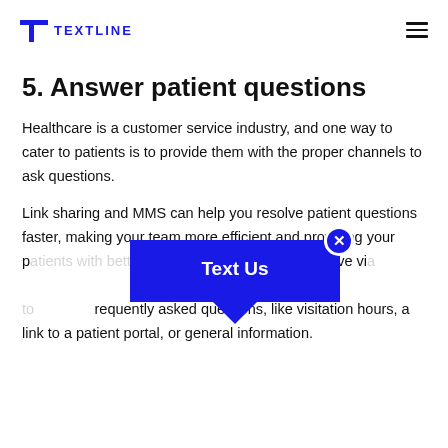TEXTLINE
5. Answer patient questions
Healthcare is a customer service industry, and one way to cater to patients is to provide them with the proper channels to ask questions.
Link sharing and MMS can help you resolve patient questions faster, making your team more efficient and providing your patients with better support than they would receive via... also use automated responses to... frequently asked questions, like visitation hours, a link to a patient portal, or general information.
[Figure (other): A 'Text Us' chat widget overlay button with a blue background, white bold text reading 'Text Us', a speech bubble tail pointing downward, and a circular close button with an X on the top right corner.]